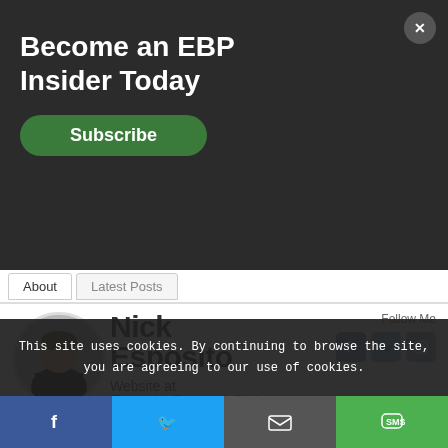Now Available! Online baseball
Become an EBP Insider Today
Subscribe
About   Latest Posts
[Figure (photo): Circular profile photo of Nick Esposito, a man in a dark t-shirt]
Nick Esposito
Follow Me
Website at EspositoStrengthClub.com
I am a Precision Nutrition Certified Coach and a Certified Personal Trainer through the National Academy of Sports Medicine (NASM). Founder of Nutrition for Softball. Esposito Strength
This site uses cookies. By continuing to browse the site, you are agreeing to our use of cookies.